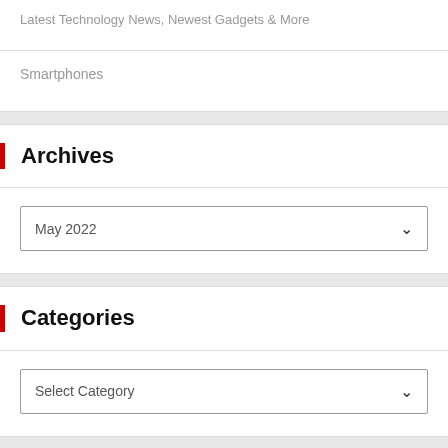Latest Technology News, Newest Gadgets & More
Smartphones
Archives
May 2022
Categories
Select Category
About Us